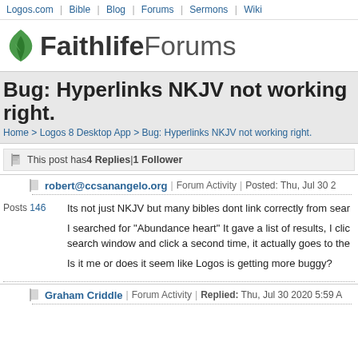Logos.com | Bible | Blog | Forums | Sermons | Wiki
[Figure (logo): Faithlife Forums logo with green leaf icon]
Bug: Hyperlinks NKJV not working right.
Home > Logos 8 Desktop App > Bug: Hyperlinks NKJV not working right.
This post has 4 Replies | 1 Follower
robert@ccsanangelo.org | Forum Activity | Posted: Thu, Jul 30 2
Posts 146
Its not just NKJV but many bibles dont link correctly from sear
I searched for "Abundance heart" It gave a list of results, I clic search window and click a second time, it actually goes to the
Is it me or does it seem like Logos is getting more buggy?
Graham Criddle | Forum Activity | Replied: Thu, Jul 30 2020 5:59 A